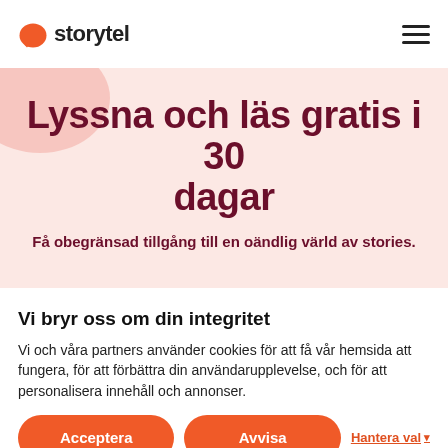[Figure (logo): Storytel logo — orange speech bubble icon followed by the word 'storytel' in bold dark text]
Lyssna och läs gratis i 30 dagar
Få obegränsad tillgång till en oändlig värld av stories.
Vi bryr oss om din integritet
Vi och våra partners använder cookies för att få vår hemsida att fungera, för att förbättra din användarupplevelse, och för att personalisera innehåll och annonser.
Acceptera | Avvisa | Hantera val